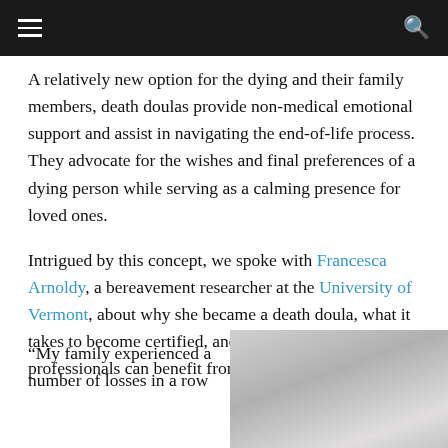navigation bar with menu and search icons
A relatively new option for the dying and their family members, death doulas provide non-medical emotional support and assist in navigating the end-of-life process. They advocate for the wishes and final preferences of a dying person while serving as a calming presence for loved ones.
Intrigued by this concept, we spoke with Francesca Arnoldy, a bereavement researcher at the University of Vermont, about why she became a death doula, what it takes to become certified, and why funeral professionals can benefit from certification.
“My family experienced a number of losses in a row
[Figure (photo): Portrait photo of a person, partially visible on the right side of the page]